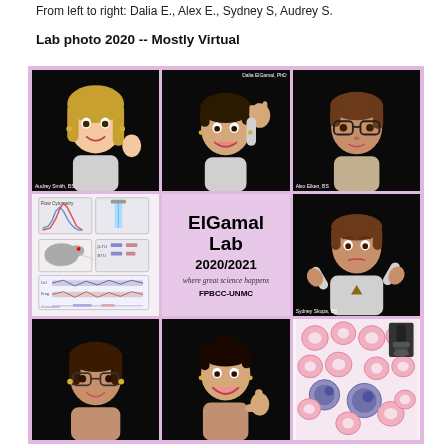From left to right: Dalia E., Alex E., Sydney S, Audrey S.
Lab photo 2020 -- Mostly Virtual
[Figure (photo): A 3x3 grid collage of lab member emoji/Memoji avatars and lab materials on a pink/purple background. Top row: Audrey Smith BS (blonde emoji waving), Dalia ElGamal PhD (dark-haired emoji waving, labeled at top right), Alex Eiken BS (brown-haired emoji with glasses). Middle row: Lab science diagram images (flow cytometry, mouse, gel), ElGamal Lab 2020/2021 center card with tagline 'where great science happens FPBCC-UNMC', Sydney Skupa BS (brunette emoji shrugging). Bottom row: two more emoji avatars and a microscopy image of blood cells.]